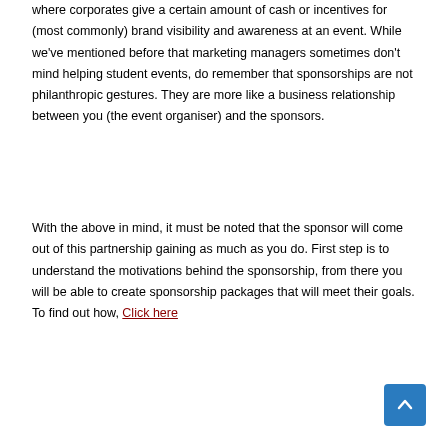where corporates give a certain amount of cash or incentives for (most commonly) brand visibility and awareness at an event. While we've mentioned before that marketing managers sometimes don't mind helping student events, do remember that sponsorships are not philanthropic gestures. They are more like a business relationship between you (the event organiser) and the sponsors.
With the above in mind, it must be noted that the sponsor will come out of this partnership gaining as much as you do. First step is to understand the motivations behind the sponsorship, from there you will be able to create sponsorship packages that will meet their goals. To find out how, Click here